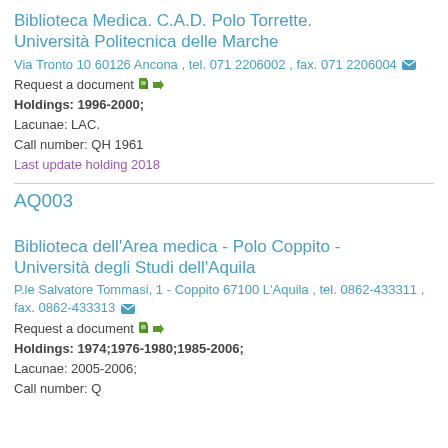Biblioteca Medica. C.A.D. Polo Torrette. Università Politecnica delle Marche
Via Tronto 10 60126 Ancona , tel. 071 2206002 , fax. 071 2206004 ✉
Request a document 📄➡
Holdings: 1996-2000;
Lacunae: LAC.
Call number: QH 1961
Last update holding 2018
AQ003
Biblioteca dell'Area medica - Polo Coppito - Università degli Studi dell'Aquila
P.le Salvatore Tommasi, 1 - Coppito 67100 L'Aquila , tel. 0862-433311 , fax. 0862-433313 ✉
Request a document 📄➡
Holdings: 1974;1976-1980;1985-2006;
Lacunae: 2005-2006;
Call number: Q